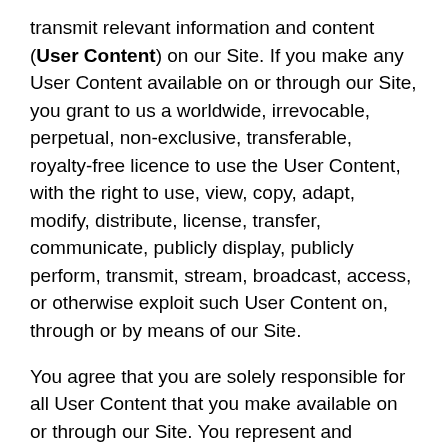transmit relevant information and content (User Content) on our Site. If you make any User Content available on or through our Site, you grant to us a worldwide, irrevocable, perpetual, non-exclusive, transferable, royalty-free licence to use the User Content, with the right to use, view, copy, adapt, modify, distribute, license, transfer, communicate, publicly display, publicly perform, transmit, stream, broadcast, access, or otherwise exploit such User Content on, through or by means of our Site.
You agree that you are solely responsible for all User Content that you make available on or through our Site. You represent and warrant that:
1. you are either the sole and exclusive owner of all